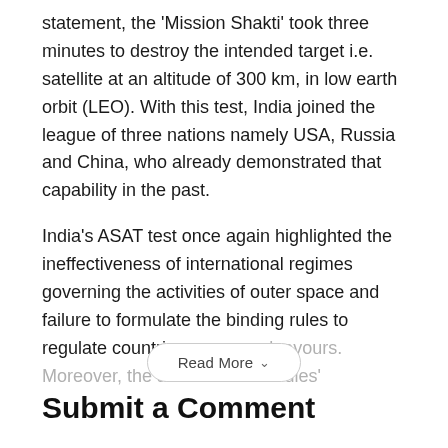statement, the 'Mission Shakti' took three minutes to destroy the intended target i.e. satellite at an altitude of 300 km, in low earth orbit (LEO). With this test, India joined the league of three nations namely USA, Russia and China, who already demonstrated that capability in the past.
India's ASAT test once again highlighted the ineffectiveness of international regimes governing the activities of outer space and failure to formulate the binding rules to regulate countries space endeavours. Moreover, the absence of 'no rules'
Read More
Submit a Comment